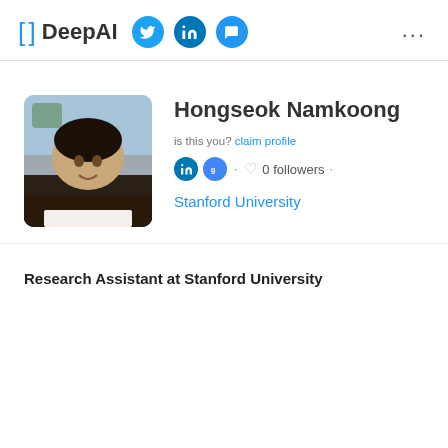[ ] DeepAI
[Figure (photo): Profile photo of Hongseok Namkoong, a young Asian man smiling, with sky and tree in background, rounded rectangle frame]
Hongseok Namkoong
is this you? claim profile
in g · ♡ 0 followers · Stanford University
Research Assistant at Stanford University